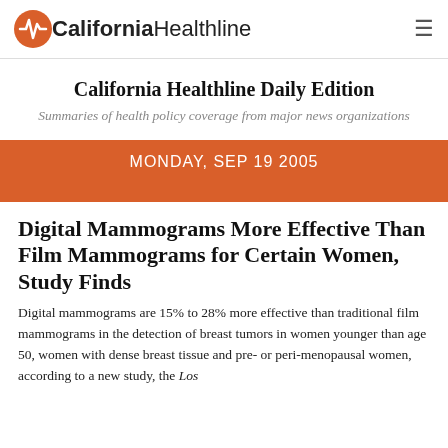California Healthline
California Healthline Daily Edition
Summaries of health policy coverage from major news organizations
MONDAY, SEP 19 2005
Digital Mammograms More Effective Than Film Mammograms for Certain Women, Study Finds
Digital mammograms are 15% to 28% more effective than traditional film mammograms in the detection of breast tumors in women younger than age 50, women with dense breast tissue and pre- or peri-menopausal women, according to a new study, the Los